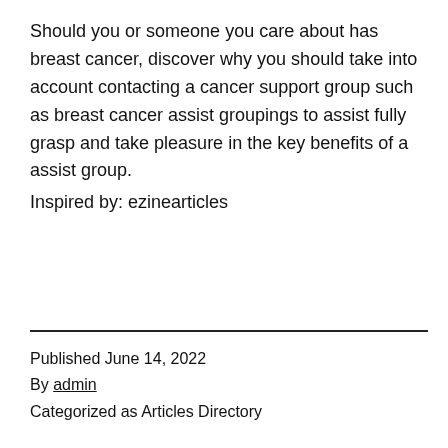Should you or someone you care about has breast cancer, discover why you should take into account contacting a cancer support group such as breast cancer assist groupings to assist fully grasp and take pleasure in the key benefits of a assist group. Inspired by: ezinearticles
Published June 14, 2022
By admin
Categorized as Articles Directory